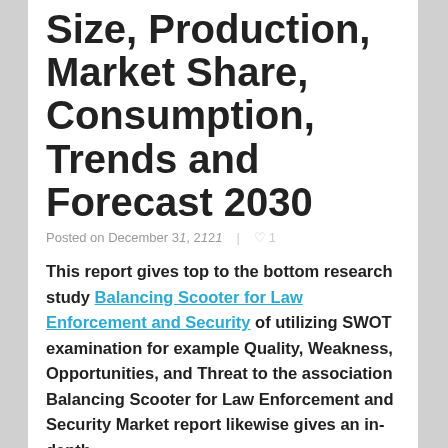Size, Production, Market Share, Consumption, Trends and Forecast 2030
Posted on December 31, 2021  ♥ 1
This report gives top to the bottom research study Balancing Scooter for Law Enforcement and Security of utilizing SWOT examination for example Quality, Weakness, Opportunities, and Threat to the association  Balancing Scooter for Law Enforcement and Security Market report likewise gives an in-depth